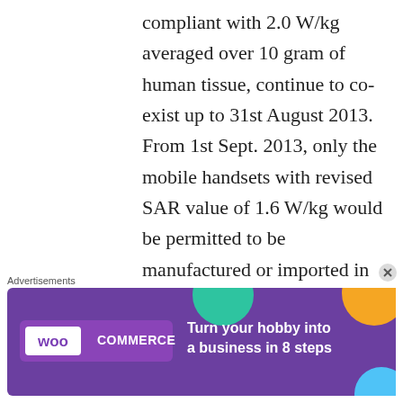compliant with 2.0 W/kg averaged over 10 gram of human tissue, continue to co-exist up to 31st August 2013. From 1st Sept. 2013, only the mobile handsets with revised SAR value of 1.6 W/kg would be permitted to be manufactured or imported in India.
Advertisements
[Figure (other): WooCommerce advertisement banner with purple background, teal and orange decorative circles. Text reads: Turn your hobby into a business in 8 steps]